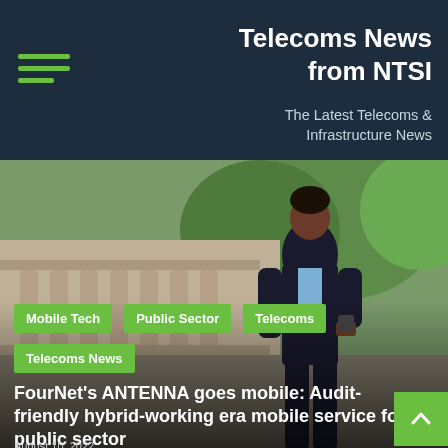Telecoms News from NTSI
The Latest Telecoms & Infrastructure News
[Figure (photo): Man in business suit walking outdoors near stone balustrade with trees in background, wearing earphones and carrying a tablet]
Mobile Tech
Public Sector
Telecoms
Telecoms News
FourNet's ANTENNA goes mobile: Audit-friendly hybrid-working era mobile service for public sector
August 10, 2022